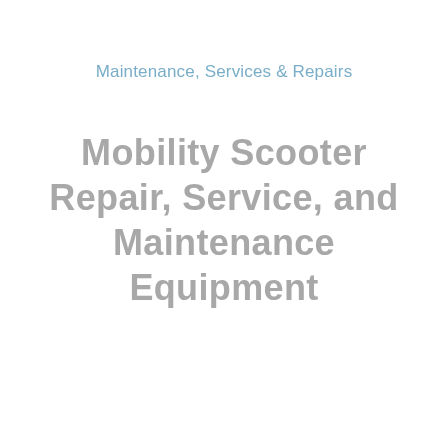Maintenance, Services & Repairs
Mobility Scooter Repair, Service, and Maintenance Equipment